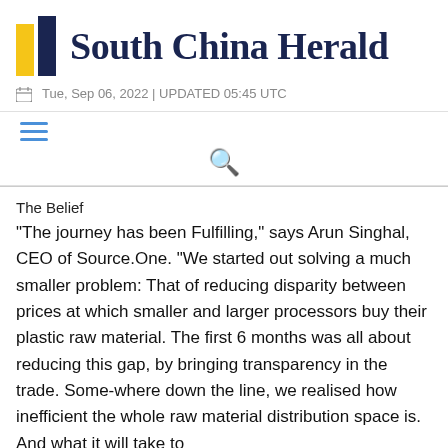South China Herald
Tue, Sep 06, 2022 | UPDATED 05:45 UTC
The Belief
"The journey has been Fulfilling," says Arun Singhal, CEO of Source.One. "We started out solving a much smaller problem: That of reducing disparity between prices at which smaller and larger processors buy their plastic raw material. The first 6 months was all about reducing this gap, by bringing transparency in the trade. Some-where down the line, we realised how inefficient the whole raw material distribution space is. And what it will take to